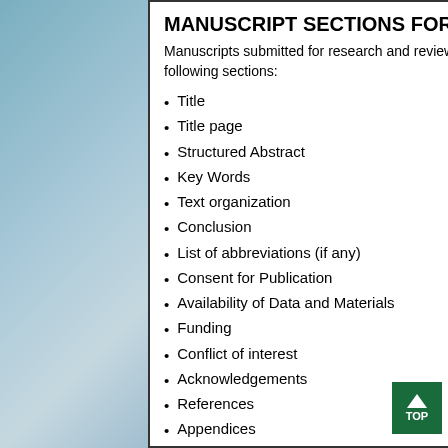MANUSCRIPT SECTIONS FOR PAPERS
Manuscripts submitted for research and review articles in the respective journal should be divided into the following sections:
Title
Title page
Structured Abstract
Key Words
Text organization
Conclusion
List of abbreviations (if any)
Consent for Publication
Availability of Data and Materials
Funding
Conflict of interest
Acknowledgements
References
Appendices
Figures/illustrations (if any)
Chemical structures (if any)